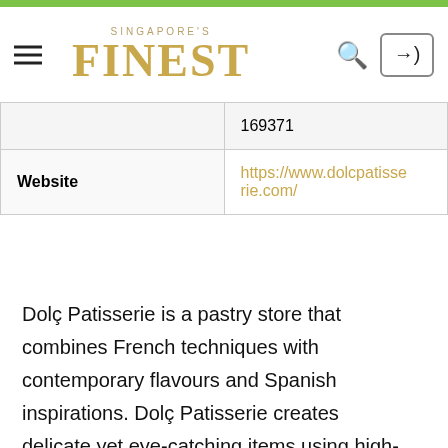Singapore's Finest
|  | 169371 |
| Website | https://www.dolcpatisserie.com/ |
Dolç Patisserie is a pastry store that combines French techniques with contemporary flavours and Spanish inspirations. Dolç Patisserie creates delicate yet eye-catching items using high-quality ingredients, subtle flavours, and innovative techniques. Dolç Patisserie will serve distinctive baked delicacies that reflect the dessert scene in Barcelona at limited periods of the year in order to bring a piece of Barcelona to Singapore. Dolç Patisserie has something to satisfy everyone's